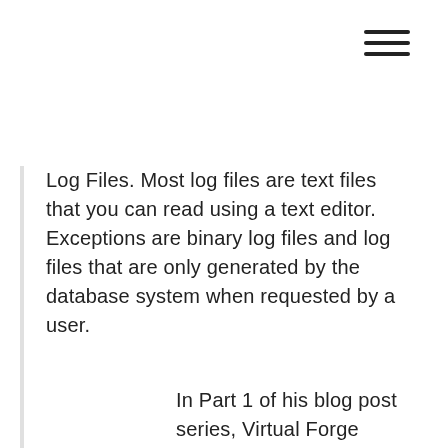Log Files. Most log files are text files that you can read using a text editor. Exceptions are binary log files and log files that are only generated by the database system when requested by a user.
In Part 1 of his blog post series, Virtual Forge SAP Security Expert DENIS BORMOTOV introduced you to the first three ABAP log files that SAP Enterprise Threat Detection (SAP ETD) is capable to process and analyze for security events in the SAP Netweaver ABAP environment. Now in Part 2, he describes the remaining log files. In Part 1 of his blog post series, Virtual Forge SAP Security Expert DENIS BORMOTOV introduced you to the first three ABAP